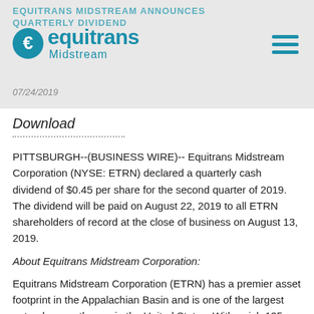EQUITRANS MIDSTREAM ANNOUNCES QUARTERLY DIVIDEND
[Figure (logo): Equitrans Midstream logo with teal E icon and company name]
07/24/2019
Download
PITTSBURGH--(BUSINESS WIRE)-- Equitrans Midstream Corporation (NYSE: ETRN) declared a quarterly cash dividend of $0.45 per share for the second quarter of 2019. The dividend will be paid on August 22, 2019 to all ETRN shareholders of record at the close of business on August 13, 2019.
About Equitrans Midstream Corporation:
Equitrans Midstream Corporation (ETRN) has a premier asset footprint in the Appalachian Basin and is one of the largest natural gas gatherers in the United States. With a rich 135-year history in the energy industry, ETRN was launched as a standalone company in 2018 and, through its subsidiaries, has an operational focus on gas gathering, systems...